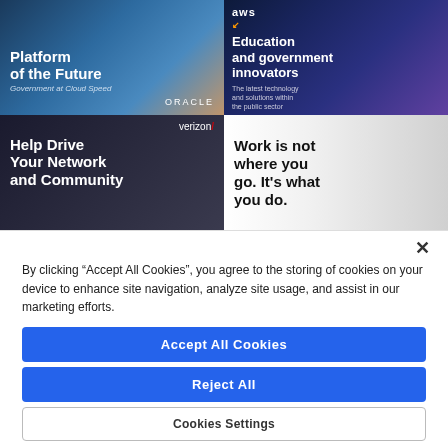[Figure (illustration): Oracle ad: Platform of the Future – Government at Cloud Speed, dark blue gradient background with silhouette figure]
[Figure (illustration): AWS ad: Education and government innovators – The latest technology and solutions within the public sector, dark navy with colorful wave graphics and AWS logo]
[Figure (illustration): Verizon ad: Help Drive Your Network and Community, dark background with Verizon branding]
[Figure (illustration): Work is not where you go. It's what you do. – ad with smiling man in glasses]
By clicking “Accept All Cookies”, you agree to the storing of cookies on your device to enhance site navigation, analyze site usage, and assist in our marketing efforts.
Accept All Cookies
Reject All
Cookies Settings